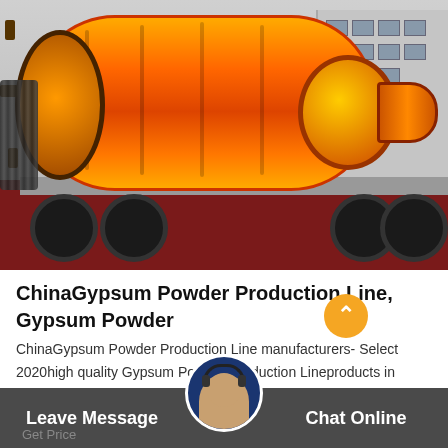[Figure (photo): Large orange industrial ball mill / grinding mill machine loaded on a flatbed truck. The machine has a large cylindrical drum with bolted flanges, a conical outlet on the right side, and gear ring on the left. Background shows a grey industrial building. Truck has red bed with large black tires visible.]
ChinaGypsum Powder Production Line, Gypsum Powder
ChinaGypsum Powder Production Line manufacturers- Select 2020high quality Gypsum Powder Production Lineproducts in bestpricefrom certified Chinese Block Machine manufacturers, AutomaticProduction Linesuppliers, wholesalers and factory on...